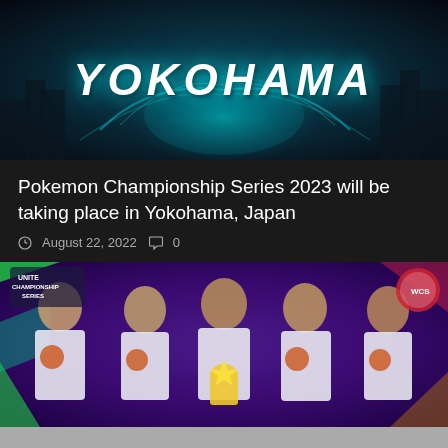[Figure (photo): Yokohama cityscape with glowing teal/cyan energy effect and large YOKOHAMA text overlaid in white italic bold font]
Pokemon Championship Series 2023 will be taking place in Yokohama, Japan
August 22, 2022   0
[Figure (photo): Five players in white Pokemon Unite Championship Series jerseys holding a trophy, standing against a purple background with Unite Championship Series and World Championship logos]